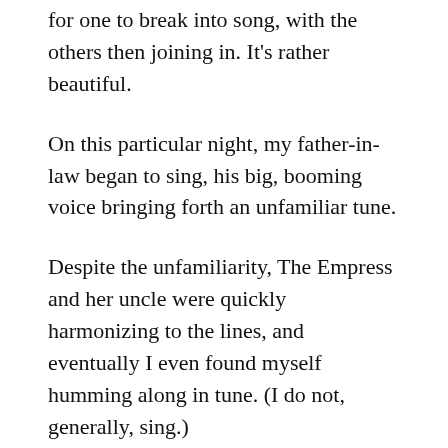for one to break into song, with the others then joining in. It's rather beautiful.
On this particular night, my father-in-law began to sing, his big, booming voice bringing forth an unfamiliar tune.
Despite the unfamiliarity, The Empress and her uncle were quickly harmonizing to the lines, and eventually I even found myself humming along in tune. (I do not, generally, sing.)
It's a happy song, and it's a perfect song for a cold Maine night, and we're all smiling along as my father-in-law deals the cards, making up lines as he goes, everyone following along …